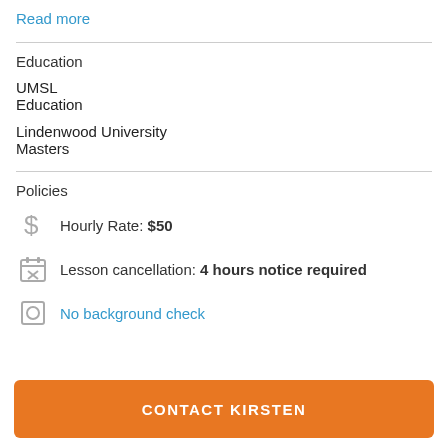Read more
Education
UMSL
Education
Lindenwood University
Masters
Policies
Hourly Rate: $50
Lesson cancellation: 4 hours notice required
No background check
CONTACT KIRSTEN